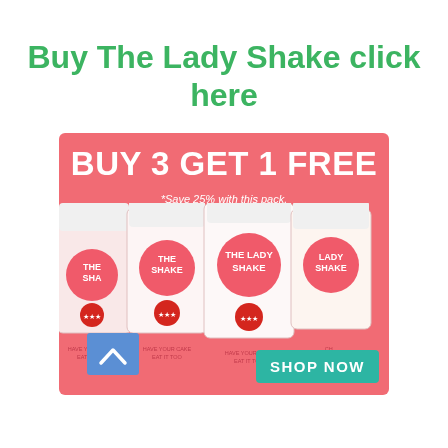Buy The Lady Shake click here
[Figure (illustration): Advertisement banner with pink/coral background showing four bags of 'The Lady Shake' meal replacement product with text 'BUY 3 GET 1 FREE' and '*Save 25% with this pack.' and a teal 'SHOP NOW' button, plus a blue scroll-up button overlay.]